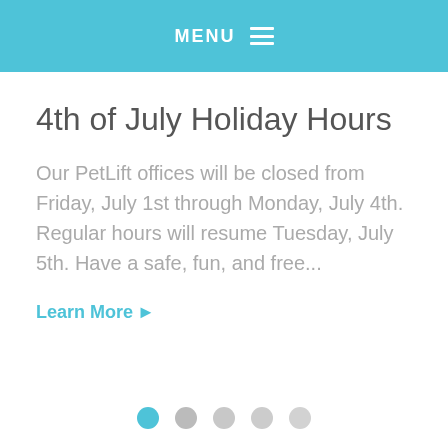MENU
4th of July Holiday Hours
Our PetLift offices will be closed from Friday, July 1st through Monday, July 4th. Regular hours will resume Tuesday, July 5th. Have a safe, fun, and free...
Learn More ▶